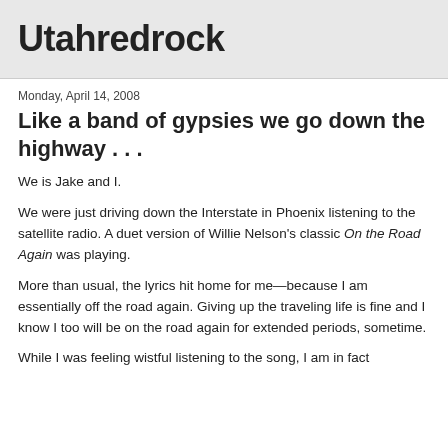Utahredrock
Monday, April 14, 2008
Like a band of gypsies we go down the highway . . .
We is Jake and I.
We were just driving down the Interstate in Phoenix listening to the satellite radio. A duet version of Willie Nelson's classic On the Road Again was playing.
More than usual, the lyrics hit home for me—because I am essentially off the road again. Giving up the traveling life is fine and I know I too will be on the road again for extended periods, sometime.
While I was feeling wistful listening to the song, I am in fact